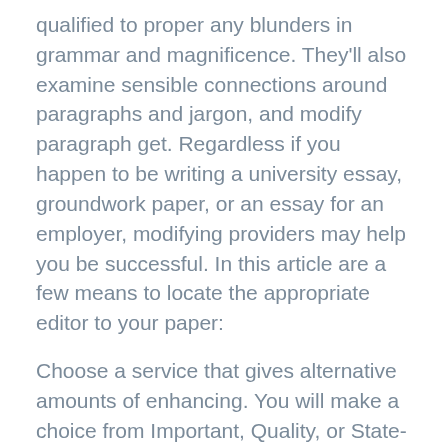qualified to proper any blunders in grammar and magnificence. They'll also examine sensible connections around paragraphs and jargon, and modify paragraph get. Regardless if you happen to be writing a university essay, groundwork paper, or an essay for an employer, modifying providers may help you be successful. In this article are a few means to locate the appropriate editor to your paper:
Choose a service that gives alternative amounts of enhancing. You will make a choice from Important, Quality, or State-of-the-art modifying. Sophisticated and Top quality Enhancing will embody 20% term reduction, whereas Scientific Enhancing will likely not contain this. Editors will eliminate alterations which may compromise articles and other content. Also, they're going to structure your paper as per the